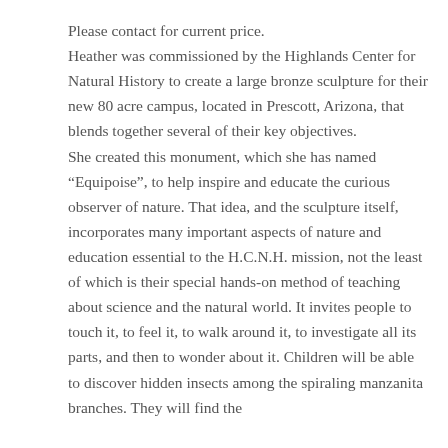Please contact for current price.
Heather was commissioned by the Highlands Center for Natural History to create a large bronze sculpture for their new 80 acre campus, located in Prescott, Arizona, that blends together several of their key objectives.
She created this monument, which she has named “Equipoise”, to help inspire and educate the curious observer of nature. That idea, and the sculpture itself, incorporates many important aspects of nature and education essential to the H.C.N.H. mission, not the least of which is their special hands-on method of teaching about science and the natural world. It invites people to touch it, to feel it, to walk around it, to investigate all its parts, and then to wonder about it. Children will be able to discover hidden insects among the spiraling manzanita branches. They will find the